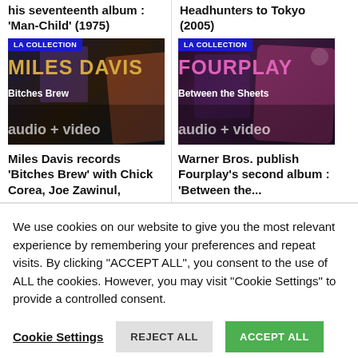his seventeenth album : 'Man-Child' (1975)
Headhunters to Tokyo (2005)
[Figure (screenshot): LA COLLECTION thumbnail showing Miles Davis 'Bitches Brew' with audio + video label]
[Figure (screenshot): LA COLLECTION thumbnail showing Fourplay 'Between the Sheets' with audio + video label]
Miles Davis records 'Bitches Brew' with Chick Corea, Joe Zawinul,
Warner Bros. publish Fourplay's second album : 'Between the...
We use cookies on our website to give you the most relevant experience by remembering your preferences and repeat visits. By clicking "ACCEPT ALL", you consent to the use of ALL the cookies. However, you may visit "Cookie Settings" to provide a controlled consent.
Cookie Settings
REJECT ALL
ACCEPT ALL